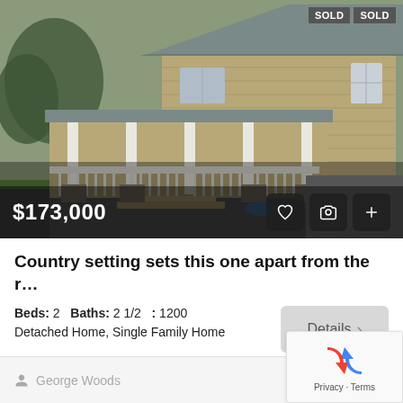[Figure (photo): Exterior photo of a two-story detached single family home with a covered front porch, white railing, tan/beige siding, gray metal roof, and a driveway. Two SOLD badges in upper right corner. Price overlay showing $173,000 at bottom left with heart, camera, and plus icon buttons at bottom right.]
Country setting sets this one apart from the r…
Beds: 2   Baths: 2 1/2   : 1200
Detached Home, Single Family Home
George Woods
2 yea